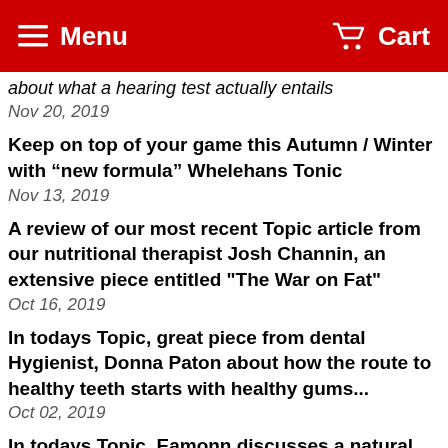Menu  Cart
about what a hearing test actually entails
Nov 20, 2019
Keep on top of your game this Autumn / Winter with “new formula” Whelehans Tonic
Nov 13, 2019
A review of our most recent Topic article from our nutritional therapist Josh Channin, an extensive piece entitled "The War on Fat"
Oct 16, 2019
In todays Topic, great piece from dental Hygienist, Donna Paton about how the route to healthy teeth starts with healthy gums...
Oct 02, 2019
In todays Topic, Eamonn discusses a natural way to help you